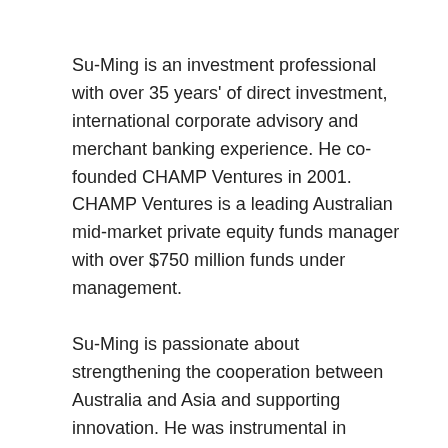Su-Ming is an investment professional with over 35 years' of direct investment, international corporate advisory and merchant banking experience. He co-founded CHAMP Ventures in 2001.  CHAMP Ventures is a leading Australian mid-market private equity funds manager with over $750 million funds under management.
Su-Ming is passionate about strengthening the cooperation between Australia and Asia and supporting innovation. He was instrumental in setting up AMWIN Innovation Fund,...
Read more